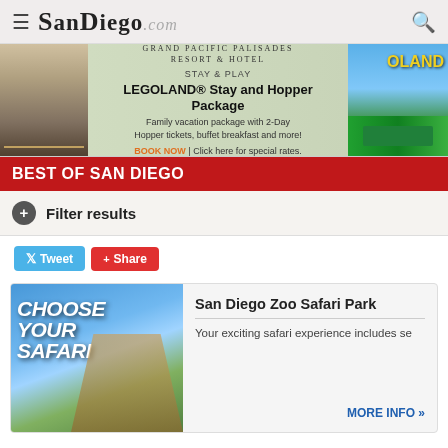SanDiego.com
[Figure (infographic): Ad banner for Grand Pacific Palisades Resort & Hotel featuring LEGOLAND Stay and Hopper Package with hotel interior photo on left and LEGOLAND exterior on right]
BEST OF SAN DIEGO
+ Filter results
Tweet | Share
[Figure (photo): San Diego Zoo Safari Park promotional image showing giraffe and visitors with text 'Choose Your Safari']
San Diego Zoo Safari Park
Your exciting safari experience includes se
MORE INFO »
Learn more about San Diego...